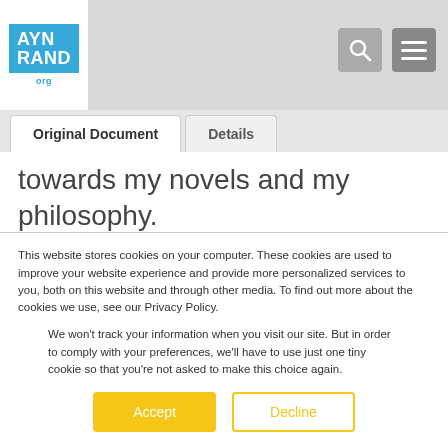AYN RAND org
Original Document | Details
towards my novels and my philosophy.
You seem to be baffled by the response of students who say: “This philosophy is too idealistic, not practical enough.” Don’t let it
This website stores cookies on your computer. These cookies are used to improve your website experience and provide more personalized services to you, both on this website and through other media. To find out more about the cookies we use, see our Privacy Policy.
We won’t track your information when you visit our site. But in order to comply with your preferences, we’ll have to use just one tiny cookie so that you’re not asked to make this choice again.